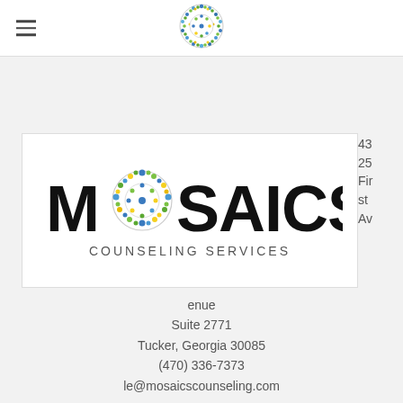[Figure (logo): Mosaics Counseling Services logo - circular mosaic pattern in blue, green, yellow colors, centered in page header]
[Figure (logo): MOSAICS COUNSELING SERVICES full logo with mosaic circular emblem replacing the letter O in MOSAICS]
4325 First Avenue Suite 2771 Tucker, Georgia 30085 (470) 336-7373 le@mosaicscounseling.com